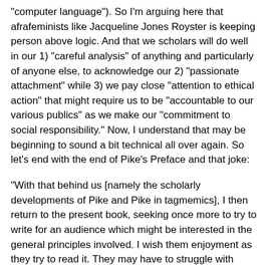“computer language”). So I’m arguing here that afrafeminists like Jacqueline Jones Royster is keeping person above logic. And that we scholars will do well in our 1) “careful analysis” of anything and particularly of anyone else, to acknowledge our 2) “passionate attachment” while 3) we pay close “attention to ethical action” that might require us to be “accountable to our various publics” as we make our “commitment to social responsibility.” Now, I understand that may be beginning to sound a bit technical all over again. So let’s end with the end of Pike’s Preface and that joke:
“With that behind us [namely the scholarly developments of Pike and Pike in tagmemics], I then return to the present book, seeking once more to try to write for an audience which might be interested in the general principles involved. I wish them enjoyment as they try to read it. They may have to struggle with some of the data and claims, of course, since the view presented may seem to be buried in some irrelevant way. But this may often be the price of pleasure. Suppose, for example, that one wants to know the analysis of
WOWOLFOL